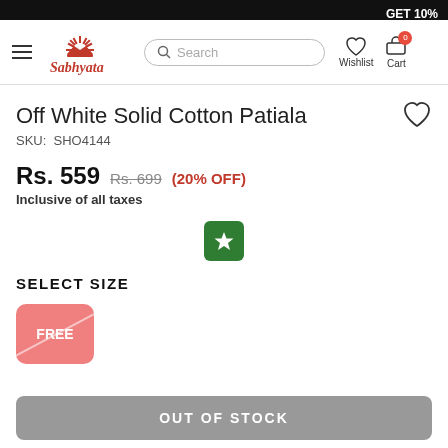GET 10%
[Figure (logo): Sabhyata brand logo with red sun/fan design above red text 'Sabhyata']
Off White Solid Cotton Patiala
SKU: SHO4144
Rs. 559  Rs. 699  (20% OFF)
Inclusive of all taxes
[Figure (illustration): Green square badge with white star icon]
SELECT SIZE
FREE (size button, out of stock, crossed out)
OUT OF STOCK